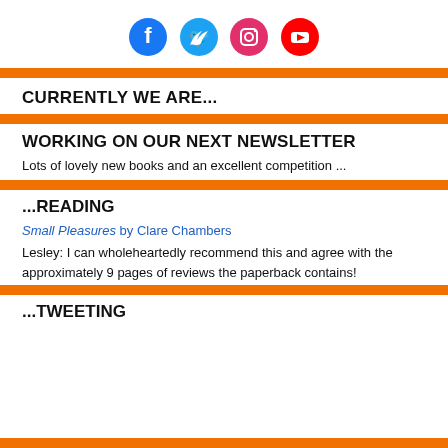[Figure (illustration): Four social media icons in circles: Facebook (blue), Twitter (blue), Instagram (pink/magenta), YouTube (red)]
CURRENTLY WE ARE...
WORKING ON OUR NEXT NEWSLETTER
Lots of lovely new books and an excellent competition ...
...READING
Small Pleasures by Clare Chambers
Lesley: I can wholeheartedly recommend this and agree with the approximately 9 pages of reviews the paperback contains!
...TWEETING